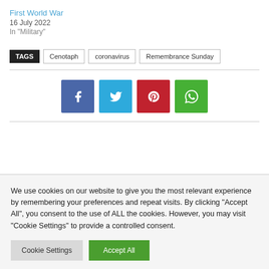First World War
16 July 2022
In "Military"
TAGS  Cenotaph  coronavirus  Remembrance Sunday
[Figure (infographic): Social share buttons: Facebook (blue-purple), Twitter (light blue), Pinterest (red), WhatsApp (green)]
We use cookies on our website to give you the most relevant experience by remembering your preferences and repeat visits. By clicking "Accept All", you consent to the use of ALL the cookies. However, you may visit "Cookie Settings" to provide a controlled consent.
Cookie Settings  Accept All